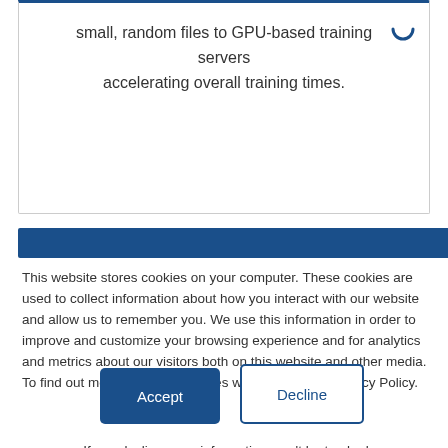small, random files to GPU-based training servers accelerating overall training times.
[Figure (screenshot): Blue horizontal banner/header bar]
This website stores cookies on your computer. These cookies are used to collect information about how you interact with our website and allow us to remember you. We use this information in order to improve and customize your browsing experience and for analytics and metrics about our visitors both on this website and other media. To find out more about the cookies we use, see our Privacy Policy.
If you decline, your information won't be tracked when you visit this website. A single cookie will be used in your browser to remember your preference not to be tracked.